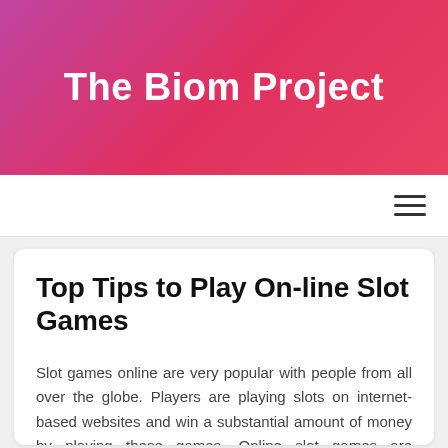The Biom Project
Top Tips to Play On-line Slot Games
Slot games online are very popular with people from all over the globe. Players are playing slots on internet-based websites and win a substantial amount of money by playing these games. Online slot games are extremely entertaining and provide plenty of enjoyment for players. It's a fantastic way to make money and also keep you entertained.